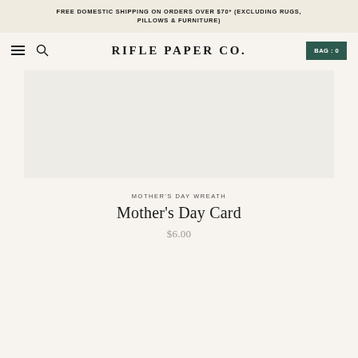FREE DOMESTIC SHIPPING ON ORDERS OVER $70* (EXCLUDING RUGS, PILLOWS & FURNITURE)
RIFLE PAPER CO. | BAG: 0
[Figure (photo): Product image placeholder area - light gray/beige rectangle representing product card image]
MOTHER'S DAY WREATH
Mother's Day Card
$6.00